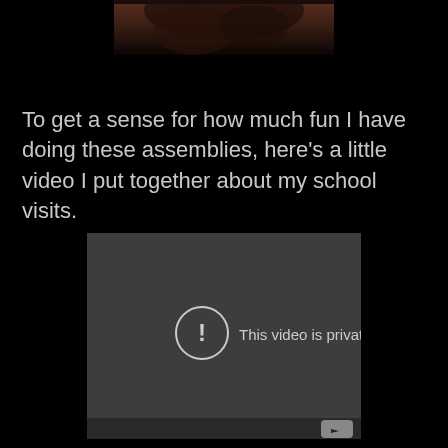[Figure (photo): Partial photo of a person, cropped at the top of the page, showing hair/head against a dark background]
To get a sense for how much fun I have doing these assemblies, here's a little video I put together about my school visits.
[Figure (screenshot): Embedded YouTube video player showing error message 'This video is private' with a circular exclamation mark icon and a YouTube logo button in the lower right corner. The player background is dark gray.]